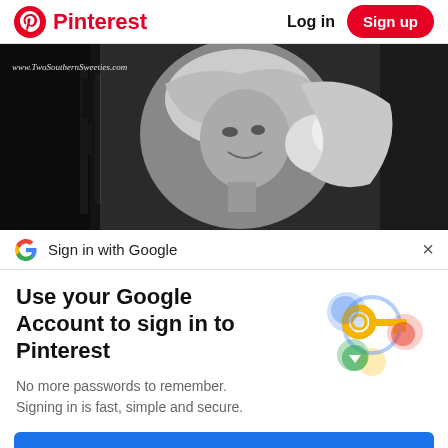Pinterest  Log in  Sign up
[Figure (photo): Black and white photo of a woman with flowing light hair, smiling, holding what appears to be a white bird or animal. Watermark text reads www.TwoSouthernSweeties.com]
Sign in with Google
Use your Google Account to sign in to Pinterest
No more passwords to remember. Signing in is fast, simple and secure.
[Figure (illustration): Google account illustration with a golden key, colorful circles (blue, green, red, yellow), representing Google sign-in security]
Continue